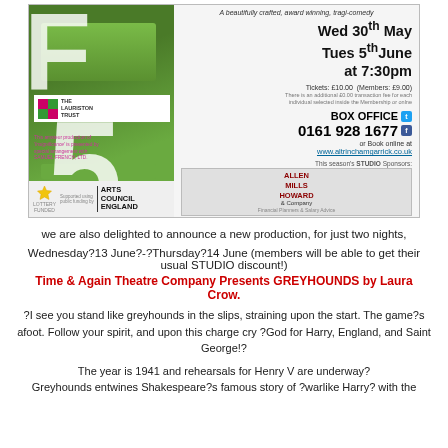[Figure (illustration): Theatre poster for a production at Altrincham Garrick. Shows a large green grass background with white letters 'F' and '5'. Includes The Lauriston Trust logo, dates Wed 30th May and Tues 5th June at 7:30pm, box office number 0161 928 1677, website www.altrinchamgarrick.co.uk, Arts Council England logo, and studio sponsors Allen Mills Howard & Company.]
we are also delighted to announce a new production, for just two nights,
Wednesday?13 June?-?Thursday?14 June (members will be able to get their usual STUDIO discount!)
Time & Again Theatre Company Presents GREYHOUNDS by Laura Crow.
?I see you stand like greyhounds in the slips, straining upon the start. The game?s afoot. Follow your spirit, and upon this charge cry ?God for Harry, England, and Saint George!?
The year is 1941 and rehearsals for Henry V are underway? Greyhounds entwines Shakespeare?s famous story of ?warlike Harry? with the